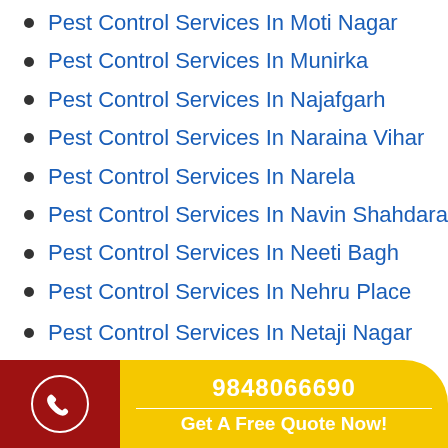Pest Control Services In Moti Nagar
Pest Control Services In Munirka
Pest Control Services In Najafgarh
Pest Control Services In Naraina Vihar
Pest Control Services In Narela
Pest Control Services In Navin Shahdara
Pest Control Services In Neeti Bagh
Pest Control Services In Nehru Place
Pest Control Services In Netaji Nagar
[Figure (infographic): Footer bar with dark red left section containing a phone icon in a white circle, and a yellow right section with phone number 9848066690 and 'Get A Free Quote Now!' text]